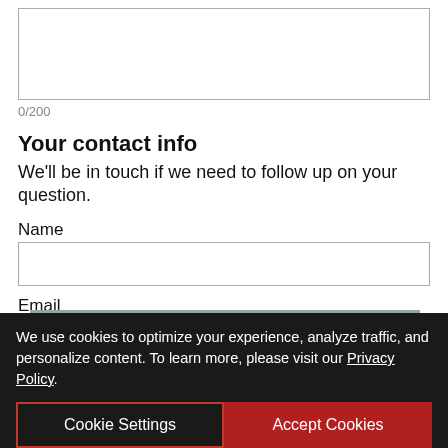0/200
Your contact info
We'll be in touch if we need to follow up on your question.
Name
Email
[Figure (photo): BayDay advertisement banner showing a kayaker on a wetland waterway with text: BayDay - Celebrate 30 Days of the Bay, September 2 - October 1 | Free for Everyone]
We use cookies to optimize your experience, analyze traffic, and personalize content. To learn more, please visit our Privacy Policy.
Cookie Settings
Accept Cookies